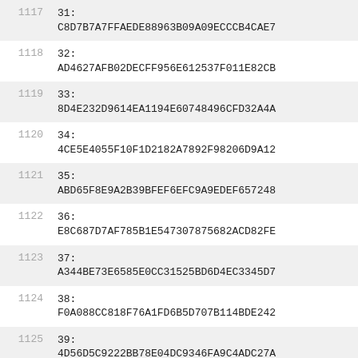1117  31:
C8D7B7A7FFAEDE88963B09A09ECCCB4CAE7...
1118  32:
AD4627AFB02DECFF956E612537F011E82CB...
1119  33:
8D4E232D9614EA1194E60748496CFD32A4A...
1120  34:
4CE5E4055F10F1D2182A7892F98206D9A12...
1121  35:
ABD65F8E9A2B39BFEF6EFC9A9EDEF657248...
1122  36:
E8C687D7AF785B1E547307875682ACD82FE...
1123  37:
A344BE73E6585E0CC31525BD6D4EC3345D7...
1124  38:
F0A088CC818F76A1FD6B5D707B114BDE242...
1125  39:
4D56D5C9222BB78E04DC9346FA9C4ADC27A...
1126  40:
C4B3C9E8140F0D5589E326916462354827E...